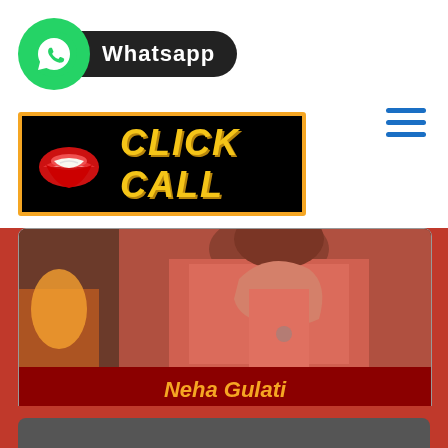[Figure (logo): WhatsApp logo with green circle and white chat icon, followed by black pill-shaped badge with 'Whatsapp' text in white]
[Figure (infographic): Black banner with orange border showing red lips icon on left and yellow italic bold text 'CLICK CALL' on right]
[Figure (photo): Photo of a woman in a pink/red long-sleeve top, with fireplace in background]
Neha Gulati
High Class Escorts
[Figure (photo): Partially visible second photo card at the bottom of the page]